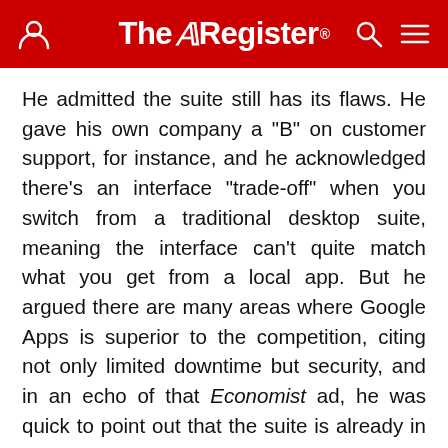The Register
He admitted the suite still has its flaws. He gave his own company a "B" on customer support, for instance, and he acknowledged there's an interface "trade-off" when you switch from a traditional desktop suite, meaning the interface can't quite match what you get from a local app. But he argued there are many areas where Google Apps is superior to the competition, citing not only limited downtime but security, and in an echo of that Economist ad, he was quick to point out that the suite is already in wide use.
"A lot of the world doesn't appreciate that this stuff is here for real," he said. "We're trying to make sure people see that the cloud – these cloud applications –